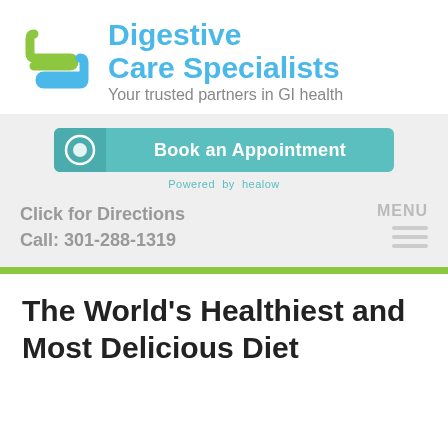[Figure (logo): Digestive Care Specialists logo with teal/green icon and blue text, tagline: Your trusted partners in GI health]
[Figure (infographic): Book an Appointment button powered by healow]
Click for Directions
Call: 301-288-1319
MENU
The World's Healthiest and Most Delicious Diet